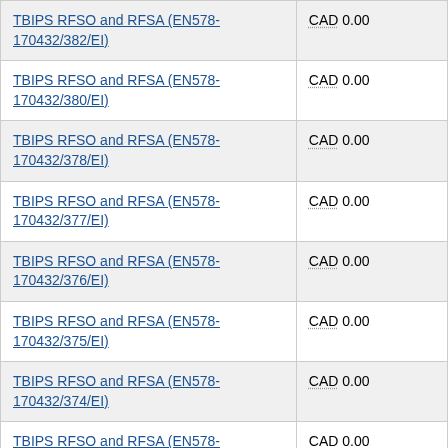| Contract / Agreement | Value |
| --- | --- |
| TBIPS RFSO and RFSA (EN578-170432/382/EI) | CAD 0.00 |
| TBIPS RFSO and RFSA (EN578-170432/380/EI) | CAD 0.00 |
| TBIPS RFSO and RFSA (EN578-170432/378/EI) | CAD 0.00 |
| TBIPS RFSO and RFSA (EN578-170432/377/EI) | CAD 0.00 |
| TBIPS RFSO and RFSA (EN578-170432/376/EI) | CAD 0.00 |
| TBIPS RFSO and RFSA (EN578-170432/375/EI) | CAD 0.00 |
| TBIPS RFSO and RFSA (EN578-170432/374/EI) | CAD 0.00 |
| TBIPS RFSO and RFSA (EN578-170432/373/EI) | CAD 0.00 |
| TBIPS RFSO and RFSA (EN578-170432/395/EI) | CAD 0.00 |
| TBIPS RFSO and RFSA (EN578-... | CAD 0.00 |